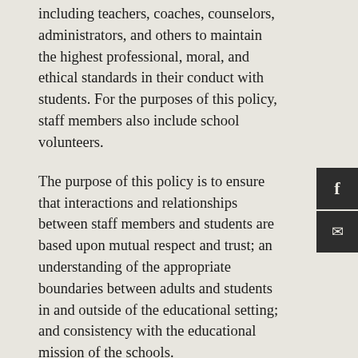including teachers, coaches, counselors, administrators, and others to maintain the highest professional, moral, and ethical standards in their conduct with students. For the purposes of this policy, staff members also include school volunteers.
The purpose of this policy is to ensure that interactions and relationships between staff members and students are based upon mutual respect and trust; an understanding of the appropriate boundaries between adults and students in and outside of the educational setting; and consistency with the educational mission of the schools.
The Board understands that staff members may interact with and have friendships with families of students outside of school. This policy is not intended to prohibit such interactions, provided that professional boundaries are maintained at all times.
Staff members are expected to be sensitive to the appearance of impropriety in their conduct with students and are encouraged to discuss issues with the building principal or their supervisor whenever they are unsure